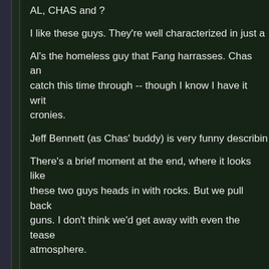AL, CHAS and ?
I like these guys. They're well characterized in just a
Al's the homeless guy that Fang harrasses. Chas an catch this time through -- though I know I have it writ cronies.
Jeff Bennett (as Chas' buddy) is very funny describin
There's a brief moment at the end, where it looks like these two guys heads in with rocks. But we pull back guns. I don't think we'd get away with even the tease atmosphere.
I wonder where they went after Talon chased them o naturals to join the Quarrymen.
And how's Al doing?
FANG & CLAW
I love Belushi as Fang. (He's got a great growl that's with Belushi's stuff.) My wife Beth thought Jim was to hilarious.